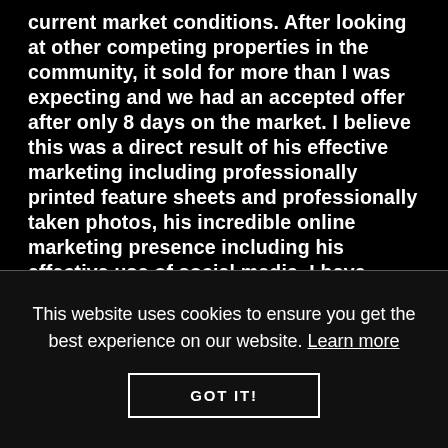current market conditions. After looking at other competing properties in the community, it sold for more than I was expecting and we had an accepted offer after only 8 days on the market. I believe this was a direct result of his effective marketing including professionally printed feature sheets and professionally taken photos, his incredible online marketing presence including his effective use of social media. I have absolutely no reservations in recommending Justin to anyone in the future."
This website uses cookies to ensure you get the best experience on our website. Learn more
GOT IT!